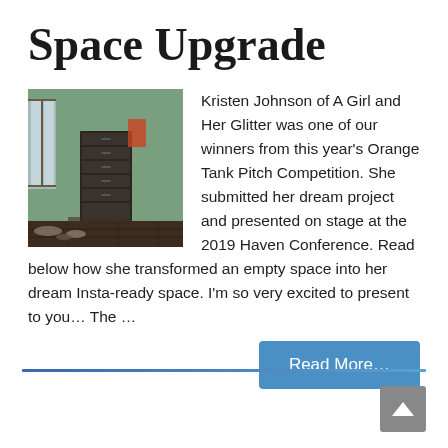Space Upgrade
[Figure (photo): A room interior with green walls, a dark dresser/storage unit, and shoes on the floor. Natural light comes from a window. Hardwood flooring visible.]
Kristen Johnson of A Girl and Her Glitter was one of our winners from this year's Orange Tank Pitch Competition. She submitted her dream project and presented on stage at the 2019 Haven Conference. Read below how she transformed an empty space into her dream Insta-ready space. I'm so very excited to present to you… The …